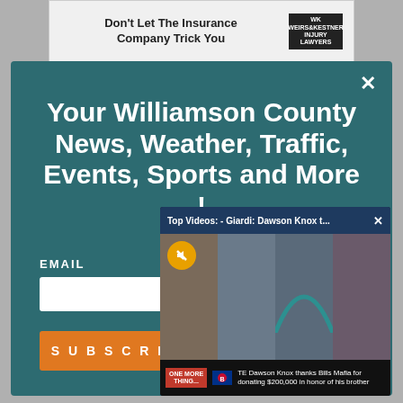[Figure (screenshot): Advertisement banner: 'Don't Let The Insurance Company Trick You' with Weirs & Kestner Injury Lawyers logo]
Your Williamson County News, Weather, Traffic, Events, Sports and More !
EMAIL
SUBSCRIBE
[Figure (screenshot): Video popup overlay titled 'Top Videos: - Giardi: Dawson Knox t...' showing four men in suits with a mute button, Bills logo, and caption 'TE Dawson Knox thanks Bills Mafia for donating $200,000 in honor of his brother']